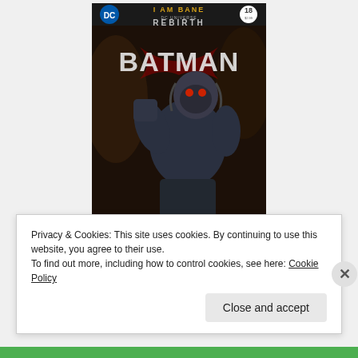[Figure (illustration): Batman #18 comic book cover - 'I Am Bane' DC Universe Rebirth. Shows Bane, a large muscular villain in a dark suit with a mask, standing over defeated enemies. Issue 18, price $2.99. DC logo top left, issue number top right.]
Privacy & Cookies: This site uses cookies. By continuing to use this website, you agree to their use.
To find out more, including how to control cookies, see here: Cookie Policy
Close and accept